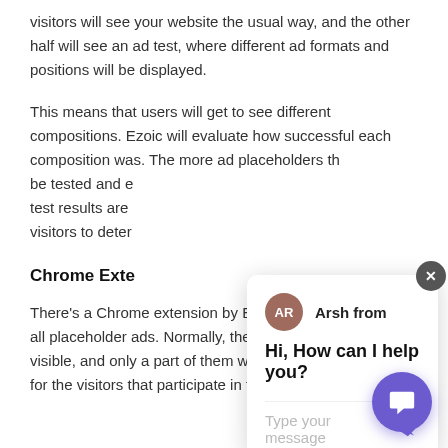visitors will see your website the usual way, and the other half will see an ad test, where different ad formats and positions will be displayed.
This means that users will get to see different compositions. Ezoic will evaluate how successful each composition was. The more ad placeholders th[at are added, the more ad formats will] be tested and e[valuated. This data is gathered until enough] test results are [in. Ezoic then uses the behavior of the] visitors to deter[mine which composition worked best.]
Chrome Exte[nsion]
There’s a Chrome extension by Ezoic, which lets you see all placeholder ads. Normally, the placeholders aren’t visible, and only a part of them will be filled with ads, even for the visitors that participate in the ad test.
[Figure (screenshot): Chat widget overlay showing agent 'Arsh from' with avatar initials AR, greeting 'Hi, How can I help you?' and a message input field with a send button. There is also a close (X) button in the top right corner of the widget, and a purple floating chat button in the bottom right corner of the page.]